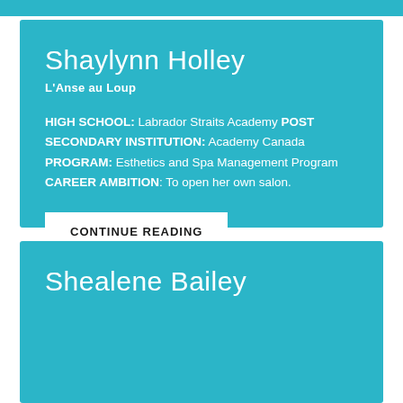Shaylynn Holley
L'Anse au Loup
HIGH SCHOOL: Labrador Straits Academy POST SECONDARY INSTITUTION: Academy Canada PROGRAM: Esthetics and Spa Management Program CAREER AMBITION: To open her own salon.
CONTINUE READING
Shealene Bailey